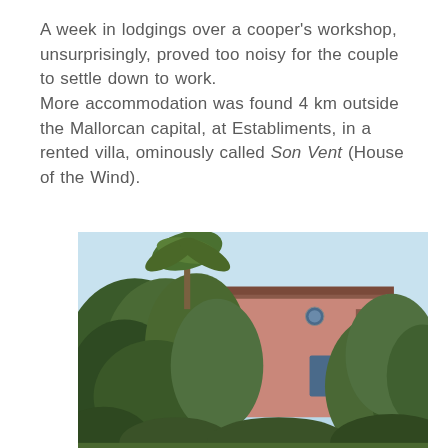A week in lodgings over a cooper's workshop, unsurprisingly, proved too noisy for the couple to settle down to work.
More accommodation was found 4 km outside the Mallorcan capital, at Establiments, in a rented villa, ominously called Son Vent (House of the Wind).
[Figure (photo): A photograph showing a pink/terracotta villa partially obscured by dense trees and shrubs including a palm tree, with a clear blue sky in the background.]